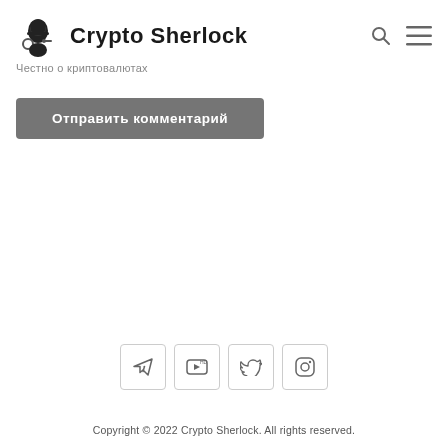Crypto Sherlock
Честно о криптовалютах
Отправить комментарий
[Figure (other): Social media icons: Telegram, YouTube, Twitter, Instagram]
Copyright © 2022 Crypto Sherlock. All rights reserved.